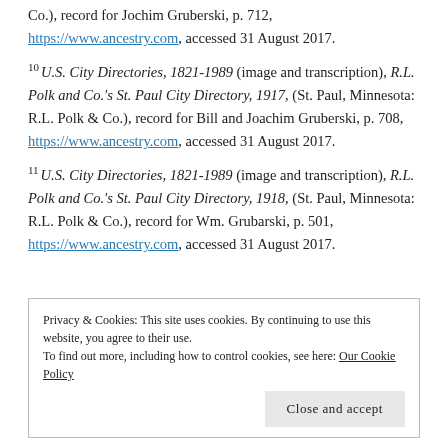Co.), record for Jochim Gruberski, p. 712, https://www.ancestry.com, accessed 31 August 2017.
10 U.S. City Directories, 1821-1989 (image and transcription), R.L. Polk and Co.'s St. Paul City Directory, 1917, (St. Paul, Minnesota: R.L. Polk & Co.), record for Bill and Joachim Gruberski, p. 708, https://www.ancestry.com, accessed 31 August 2017.
11 U.S. City Directories, 1821-1989 (image and transcription), R.L. Polk and Co.'s St. Paul City Directory, 1918, (St. Paul, Minnesota: R.L. Polk & Co.), record for Wm. Grubarski, p. 501, https://www.ancestry.com, accessed 31 August 2017.
Privacy & Cookies: This site uses cookies. By continuing to use this website, you agree to their use. To find out more, including how to control cookies, see here: Our Cookie Policy